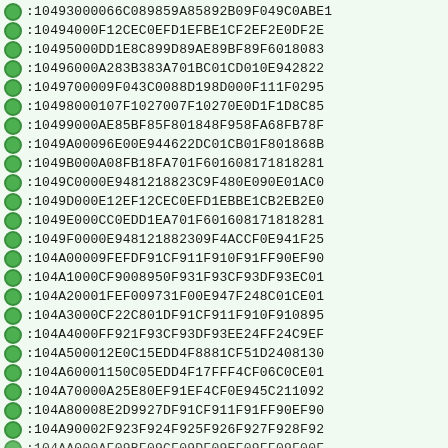:10493000066C089859A85892B09F049C0ABE1
:10494000F12CEC0EFD1EFBE1CF2EF2E0DF2E
:10495000DD1E8C899D89AE89BF89F6018083
:10496000A283B383A701BC01CD010E942822
:1049700009F043C0088D198D000F111F0295
:10498000107F1027007F10270E0D1F1D8C85
:10499000AE85BF85F801848F958FA68FB78F
:1049A00096E00E944622DC01CB01F801868B
:1049B000A08FB18FA701F601608171818281
:1049C0000E9481218823C9F480E090E01AC0
:1049D000E12EF12CEC0EFD1EBBE1CB2EB2E0
:1049E000CC0EDD1EA701F601608171818281
:1049F0000E948121882309F4ACCF0E941F25
:104A00009FEFDF91CF911F910F91FF90EF90
:104A1000CF9008950F931F93CF93DF93EC01
:104A20001FEF009731F00E947F248C01CE01
:104A3000CF22C801DF91CF911F910F910895
:104A4000FF921F93CF93DF93EE24FF24C9EF
:104A500012E0C15EDD4F8881CF51D2408130
:104A60001150C05EDD4F17FFF4CF06C0CE01
:104A70000A25E80EF91EF4CF0E945C211092
:104A80008E2D9927DF91CF911F91FF90EF90
:104A90002F923F924F925F926F927F928F92
:104AA000AF09BF09CF09DF09EF09FF09F00F